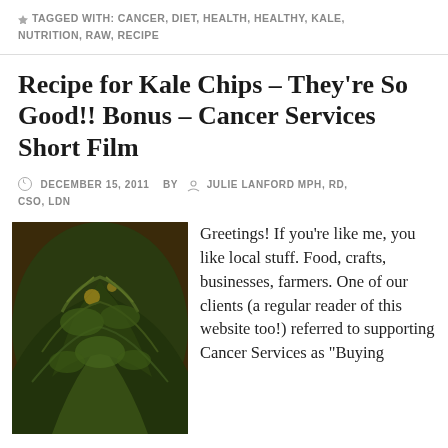TAGGED WITH: CANCER, DIET, HEALTH, HEALTHY, KALE, NUTRITION, RAW, RECIPE
Recipe for Kale Chips – They're So Good!! Bonus – Cancer Services Short Film
DECEMBER 15, 2011  BY  JULIE LANFORD MPH, RD, CSO, LDN
[Figure (photo): Close-up photo of dark green kale chips on a warm background]
Greetings! If you're like me, you like local stuff. Food, crafts, businesses, farmers. One of our clients (a regular reader of this website too!) referred to supporting Cancer Services as "Buying